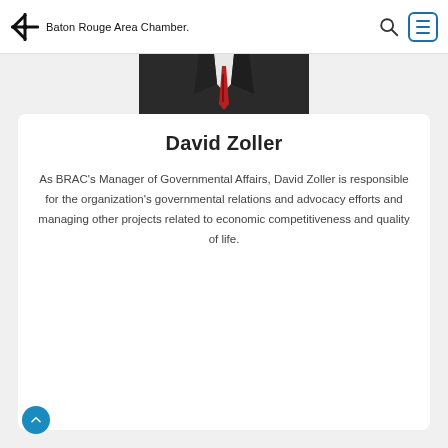Baton Rouge Area Chamber.
[Figure (photo): Partial photo of a man in a dark suit and red tie, cropped from the torso up]
David Zoller
As BRAC's Manager of Governmental Affairs, David Zoller is responsible for the organization's governmental relations and advocacy efforts and managing other projects related to economic competitiveness and quality of life.